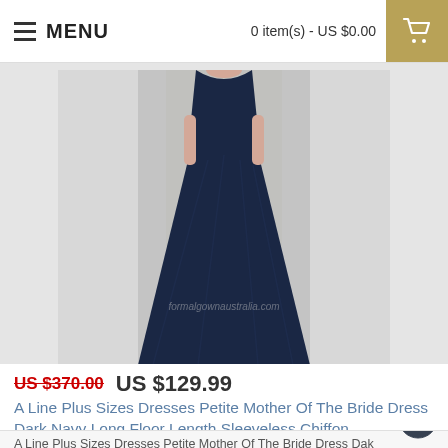MENU   0 item(s) - US $0.00
[Figure (photo): A model wearing a dark navy long floor-length sleeveless chiffon dress, photographed against a light grey background. Only the torso and skirt are visible. A faint watermark reads 'formalgownaustralia.com'.]
US $370.00  US $129.99
A Line Plus Sizes Dresses Petite Mother Of The Bride Dress Dark Navy Long Floor Length Sleeveless Chiffon
A Line Plus Sizes Dresses Petite Mother Of The Bride Dress Dak Navy Long Floor Length Sleeveless Ch..